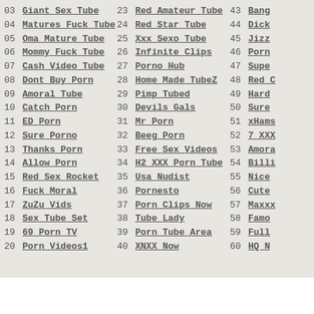03 Giant Sex Tube
04 Matures Fuck Tube
05 Oma Mature Tube
06 Mommy Fuck Tube
07 Cash Video Tube
08 Dont Buy Porn
09 Amoral Tube
10 Catch Porn
11 ED Porn
12 Sure Porno
13 Thanks Porn
14 Allow Porn
15 Red Sex Rocket
16 Fuck Moral
17 ZuZu Vids
18 Sex Tube Set
19 69 Porn TV
20 Porn Videos1
23 Red Amateur Tube
24 Red Star Tube
25 Xxx Sexo Tube
26 Infinite Clips
27 Porno Hub
28 Home Made TubeZ
29 Pimp Tubed
30 Devils Gals
31 Mr Porn
32 Beeg Porn
33 Free Sex Videos
34 H2 XXX Porn Tube
35 Usa Nudist
36 Pornesto
37 Porn Clips Now
38 Tube Lady
39 Porn Tube Area
40 XNXX Now
43 Bang...
44 Dick...
45 Jizz...
46 Porn...
47 Supe...
48 Red C...
49 Hard...
50 Sure...
51 xHams...
52 7 XXX...
53 Amora...
54 Billi...
55 Nice...
56 Cute...
57 Maxxx...
58 Famo...
59 Full...
60 HQ N...